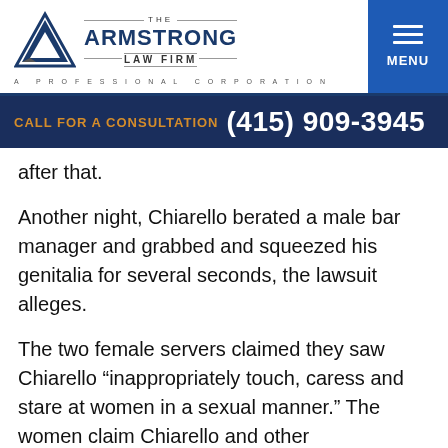[Figure (logo): The Armstrong Law Firm logo with blue triangle/A icon and text 'THE ARMSTRONG LAW FIRM — A PROFESSIONAL CORPORATION']
CALL FOR A CONSULTATION (415) 909-3945
after that.
Another night, Chiarello berated a male bar manager and grabbed and squeezed his genitalia for several seconds, the lawsuit alleges.
The two female servers claimed they saw Chiarello “inappropriately touch, caress and stare at women in a sexual manner.” The women claim Chiarello and other management would openly discuss the “sexual acts that